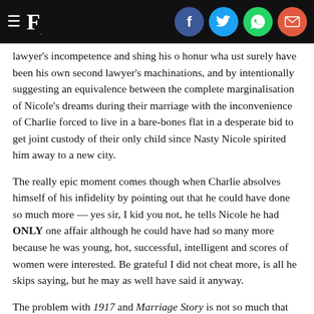F. [logo with social icons: Facebook, Twitter, WhatsApp, Email]
lawyer's incompetence and shining his o honour what must surely have been his own second lawyer's machinations, and by intentionally suggesting an equivalence between the complete marginalisation of Nicole's dreams during their marriage with the inconvenience of Charlie forced to live in a bare-bones flat in a desperate bid to get joint custody of their only child since Nasty Nicole spirited him away to a new city.
The really epic moment comes though when Charlie absolves himself of his infidelity by pointing out that he could have done so much more — yes sir, I kid you not, he tells Nicole he had ONLY one affair although he could have had so many more because he was young, hot, successful, intelligent and scores of women were interested. Be grateful I did not cheat more, is all he skips saying, but he may as well have said it anyway.
The problem with 1917 and Marriage Story is not so much that they take sides, but that they camouflage their aims. The problem with them is not that they are prejudiced, but that